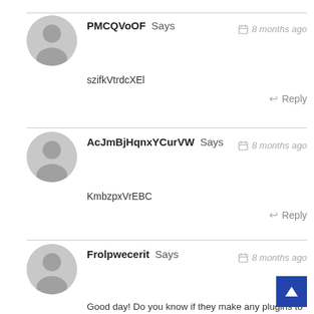PMCQVoOF Says — 8 months ago
szifkVtrdcXEl
Reply
AcJmBjHqnxYCurVW Says — 8 months ago
KmbzpxVrEBC
Reply
Frolpwecerit Says — 8 months ago
Good day! Do you know if they make any plugins to assist with SEO? I'm trying to get my blog to rank for some targeted keywords but I'm not seeing very good success. If you know of any please share. Many thanks!
Reply